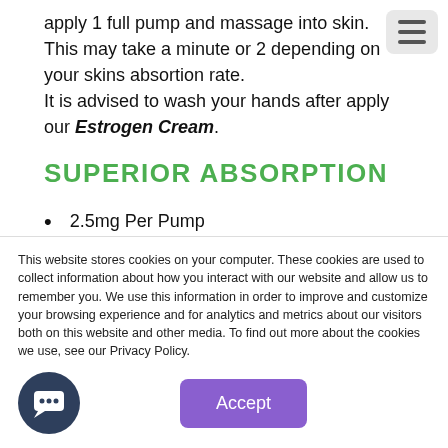apply 1 full pump and massage into skin. This may take a minute or 2 depending on your skins absortion rate. It is advised to wash your hands after apply our Estrogen Cream.
SUPERIOR ABSORPTION
2.5mg Per Pump
Paraben-Free
Phenoxyethanol Free
A great alternative to biest drops
This website stores cookies on your computer. These cookies are used to collect information about how you interact with our website and allow us to remember you. We use this information in order to improve and customize your browsing experience and for analytics and metrics about our visitors both on this website and other media. To find out more about the cookies we use, see our Privacy Policy.